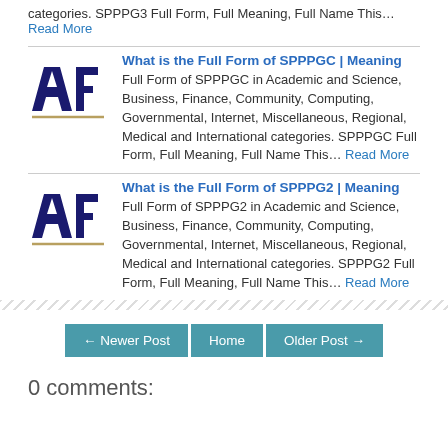categories. SPPPG3 Full Form, Full Meaning, Full Name This… Read More
[Figure (logo): AF logo in dark navy blue with geometric angular letters A and F, with a gold/tan horizontal line beneath]
What is the Full Form of SPPPGC | Meaning
Full Form of SPPPGC in Academic and Science, Business, Finance, Community, Computing, Governmental, Internet, Miscellaneous, Regional, Medical and International categories. SPPPGC Full Form, Full Meaning, Full Name This… Read More
[Figure (logo): AF logo in dark navy blue with geometric angular letters A and F, with a gold/tan horizontal line beneath]
What is the Full Form of SPPPG2 | Meaning
Full Form of SPPPG2 in Academic and Science, Business, Finance, Community, Computing, Governmental, Internet, Miscellaneous, Regional, Medical and International categories. SPPPG2 Full Form, Full Meaning, Full Name This… Read More
← Newer Post   Home   Older Post →
0 comments: